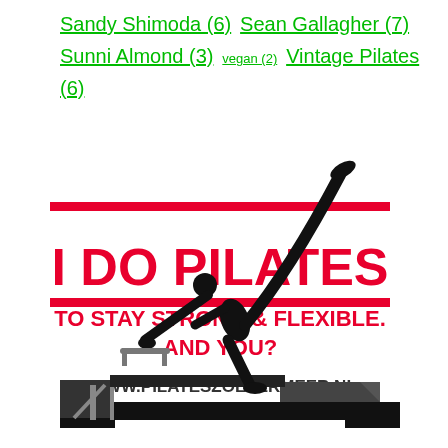Sandy Shimoda (6)  Sean Gallagher (7)  Sunni Almond (3)  vegan (2)  Vintage Pilates (6)
[Figure (illustration): Pilates promotional image showing silhouette of a person doing pilates on a reformer machine, with red text 'I DO PILATES TO STAY STRONG & FLEXIBLE. AND YOU?' and URL -WWW.PILATESZOETERMEER.NL]